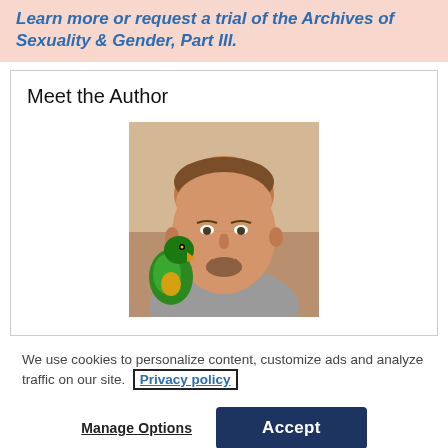Learn more or request a trial of the Archives of Sexuality & Gender, Part III.
Meet the Author
[Figure (photo): Photo of a man with a green parrot/eclectus parrot on his shoulder, indoor setting]
We use cookies to personalize content, customize ads and analyze traffic on our site. Privacy policy
Manage Options
Accept